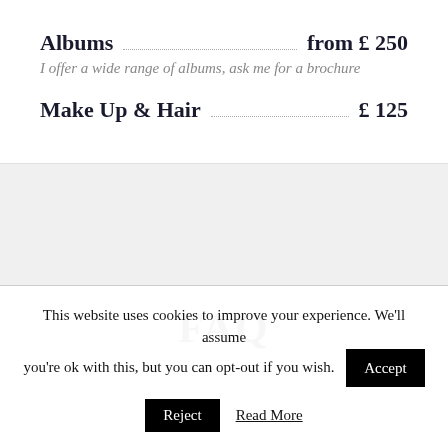Albums  from £ 250
I offer a wide range of albums, ask me for a brochure
Make Up & Hair  £ 125
FAQ
This website uses cookies to improve your experience. We'll assume you're ok with this, but you can opt-out if you wish.  Accept  Reject  Read More